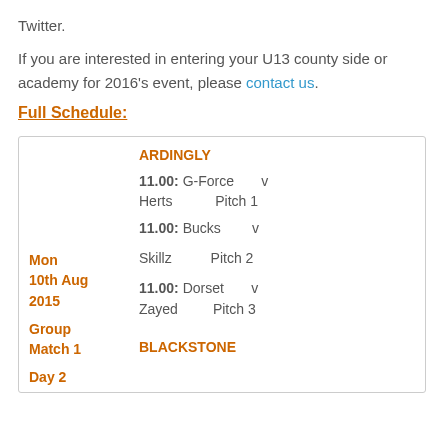Twitter.
If you are interested in entering your U13 county side or academy for 2016's event, please contact us.
Full Schedule:
| Date/Info | Venue/Match Info |
| --- | --- |
|  | ARDINGLY |
|  | 11.00: G-Force v Herts  Pitch 1 |
| Mon 10th Aug 2015 Group Match 1 Day 2 | 11.00: Bucks v Skillz  Pitch 2 |
|  | 11.00: Dorset v Zayed  Pitch 3 |
|  | BLACKSTONE |